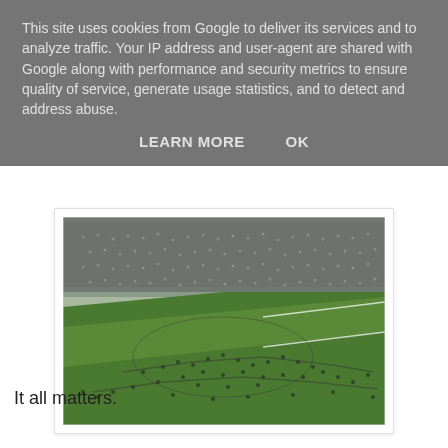This site uses cookies from Google to deliver its services and to analyze traffic. Your IP address and user-agent are shared with Google along with performance and security metrics to ensure quality of service, generate usage statistics, and to detect and address abuse.
LEARN MORE    OK
[Figure (photo): Aerial view of a football stadium with crowds of spectators on the pitch and in the stands, black and white/color photograph showing large crowd on the field.]
It all matters.